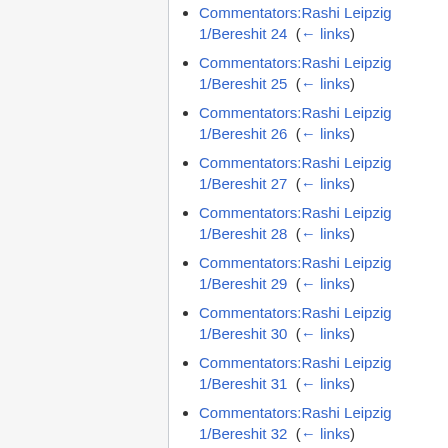Commentators:Rashi Leipzig 1/Bereshit 24  (← links)
Commentators:Rashi Leipzig 1/Bereshit 25  (← links)
Commentators:Rashi Leipzig 1/Bereshit 26  (← links)
Commentators:Rashi Leipzig 1/Bereshit 27  (← links)
Commentators:Rashi Leipzig 1/Bereshit 28  (← links)
Commentators:Rashi Leipzig 1/Bereshit 29  (← links)
Commentators:Rashi Leipzig 1/Bereshit 30  (← links)
Commentators:Rashi Leipzig 1/Bereshit 31  (← links)
Commentators:Rashi Leipzig 1/Bereshit 32  (← links)
Commentators:Rashi Leipzig 1/Bereshit 34  (← links)
Commentators:Rashi Leipzig 1/Bereshit …